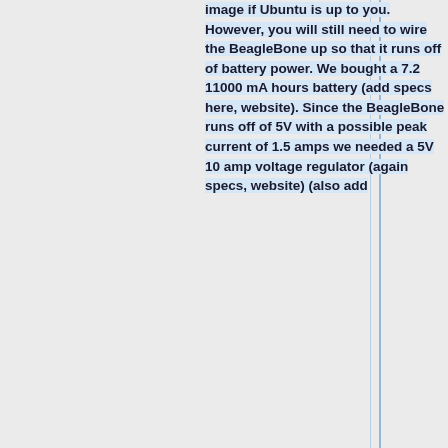image if Ubuntu is up to you. However, you will still need to wire the BeagleBone up so that it runs off of battery power. We bought a 7.2 11000 mA hours battery (add specs here, website). Since the BeagleBone runs off of 5V with a possible peak current of 1.5 amps we needed a 5V 10 amp voltage regulator (again specs, website) (also add